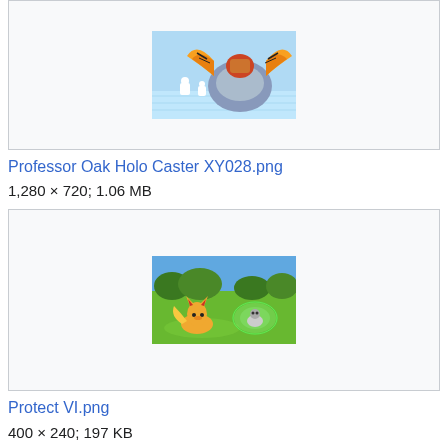[Figure (photo): Thumbnail image of Professor Oak Holo Caster XY028 scene with Pokemon characters on a blue/icy background]
Professor Oak Holo Caster XY028.png
1,280 × 720; 1.06 MB
[Figure (photo): Thumbnail image of Protect VI scene showing a fox-like Pokemon and another Pokemon with a green shield/dome on a green field background]
Protect VI.png
400 × 240; 197 KB
[Figure (photo): Partial thumbnail image at the bottom of the page (cut off)]